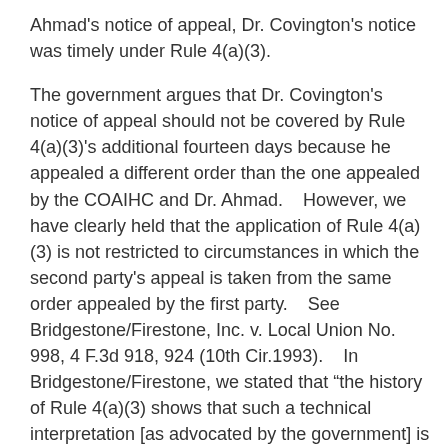Ahmad's notice of appeal, Dr. Covington's notice was timely under Rule 4(a)(3).
The government argues that Dr. Covington's notice of appeal should not be covered by Rule 4(a)(3)'s additional fourteen days because he appealed a different order than the one appealed by the COAIHC and Dr. Ahmad.    However, we have clearly held that the application of Rule 4(a)(3) is not restricted to circumstances in which the second party's appeal is taken from the same order appealed by the first party.    See Bridgestone/Firestone, Inc. v. Local Union No. 998, 4 F.3d 918, 924 (10th Cir.1993).    In Bridgestone/Firestone, we stated that “the history of Rule 4(a)(3) shows that such a technical interpretation [as advocated by the government] is not in accord with commentary on the time extension provisions.”   Id.   Specifically, we cited the commentary to the rule's predecessor, which provided: